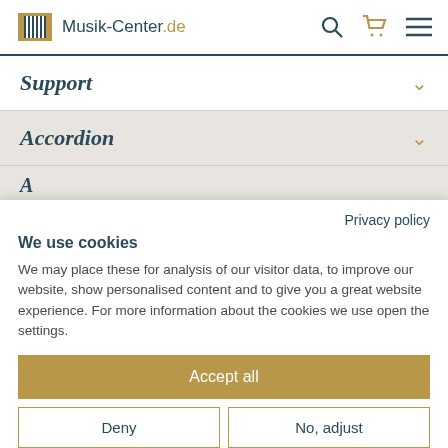Musik-Center.de
Support
Accordion
Privacy policy
We use cookies
We may place these for analysis of our visitor data, to improve our website, show personalised content and to give you a great website experience. For more information about the cookies we use open the settings.
Accept all
Deny
No, adjust